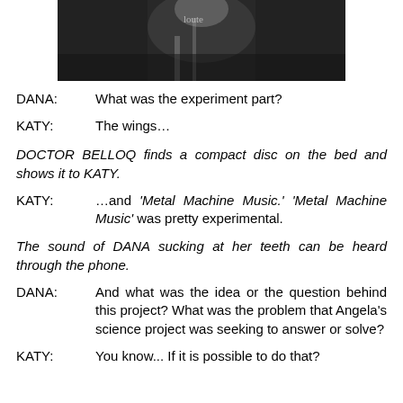[Figure (photo): Black and white photograph of a performer on stage, cropped at the top of the page]
DANA:    What was the experiment part?
KATY:    The wings…
DOCTOR BELLOQ finds a compact disc on the bed and shows it to KATY.
KATY:    …and 'Metal Machine Music.' 'Metal Machine Music' was pretty experimental.
The sound of DANA sucking at her teeth can be heard through the phone.
DANA:    And what was the idea or the question behind this project? What was the problem that Angela's science project was seeking to answer or solve?
KATY:    You know... If it is possible to do that?